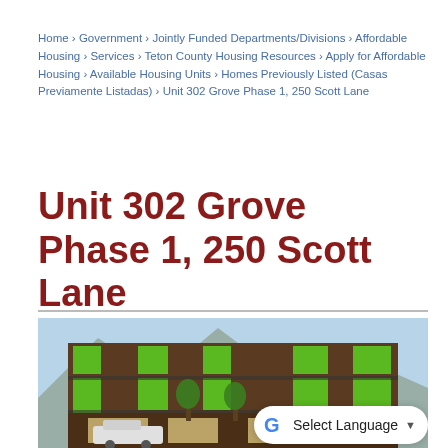Home › Government › Jointly Funded Departments/Divisions › Affordable Housing › Services › Teton County Housing Resources › Apply for Affordable Housing › Available Housing Units › Homes Previously Listed (Casas Previamente Listadas) › Unit 302 Grove Phase 1, 250 Scott Lane
Unit 302 Grove Phase 1, 250 Scott Lane
[Figure (photo): Exterior rendering of a modern multi-story residential building with dark wood cladding, bright green accent panels, balconies, and large windows. Mountain and blue sky visible in background. A white pickup truck is parked in front. A Google Translate widget is overlaid in the bottom-right corner.]